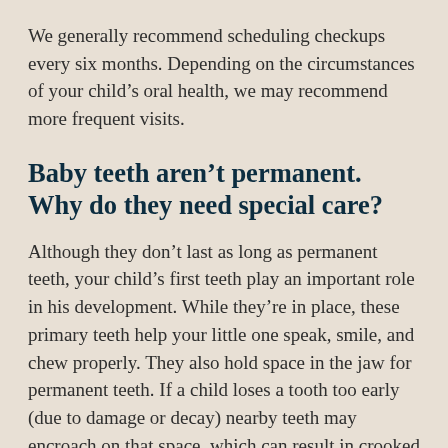We generally recommend scheduling checkups every six months. Depending on the circumstances of your child's oral health, we may recommend more frequent visits.
Baby teeth aren't permanent. Why do they need special care?
Although they don't last as long as permanent teeth, your child's first teeth play an important role in his development. While they're in place, these primary teeth help your little one speak, smile, and chew properly. They also hold space in the jaw for permanent teeth. If a child loses a tooth too early (due to damage or decay) nearby teeth may encroach on that space, which can result in crooked or misplaced permanent teeth. Also, your child's general health is affected by the oral